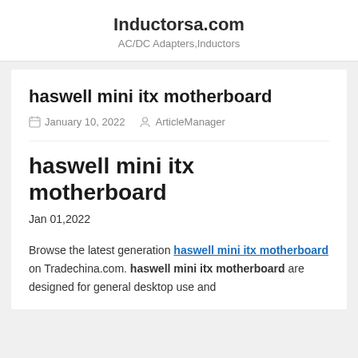Inductorsa.com
AC/DC Adapters,Inductors
haswell mini itx motherboard
January 10, 2022  ArticleManager
haswell mini itx motherboard
Jan 01,2022
Browse the latest generation haswell mini itx motherboard on Tradechina.com. haswell mini itx motherboard are designed for general desktop use and